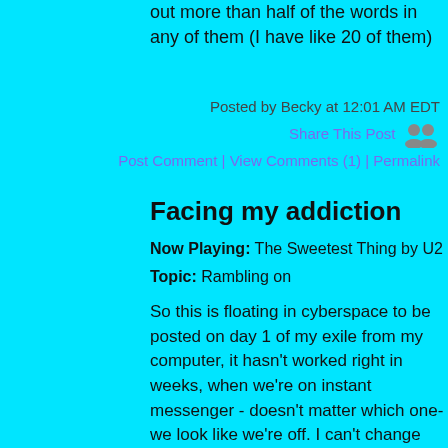out more than half of the words in any of them (I have like 20 of them)
Posted by Becky at 12:01 AM EDT
Share This Post
Post Comment | View Comments (1) | Permalink
Facing my addiction
Now Playing: The Sweetest Thing by U2
Topic: Rambling on
So this is floating in cyberspace to be posted on day 1 of my exile from my computer, it hasn't worked right in weeks, when we're on instant messenger - doesn't matter which one- we look like we're off. I can't change my desktop from a blank screen, though I can change the color of the screen. that stays. (& I can change the administrator settings, just not my own. & I don't know how to move things between my settings & the administrator because If I could conveniently move a lot of this stuff to there where only I know the password I would move them & leave these settings to the kids...) Anyway, the computer's funky, &